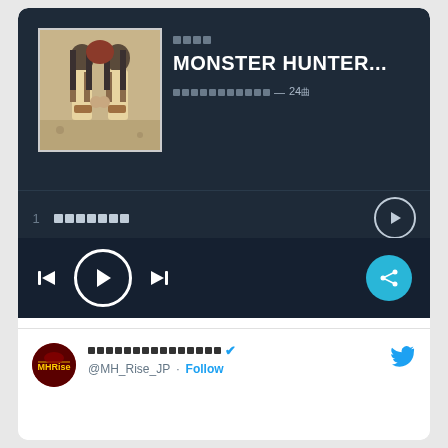[Figure (screenshot): Music player app screenshot showing a Monster Hunter Rise album with dark blue theme, track list with two tracks, playback controls, and a Twitter card at the bottom showing @MH_Rise_JP account with Follow button]
MONSTER HUNTER...
— 24
1   [track title]
2   [track title]
@MH_Rise_JP · Follow